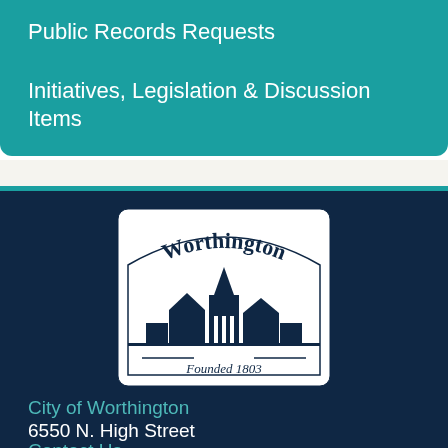Public Records Requests
Initiatives, Legislation & Discussion Items
[Figure (logo): City of Worthington seal/logo — arched badge shape with 'Worthington' in script at top, cityscape buildings silhouette in the middle, and 'Founded 1803' at the bottom. White on dark navy background.]
City of Worthington
6550 N. High Street
Worthington, Ohio 43085
Contact Us